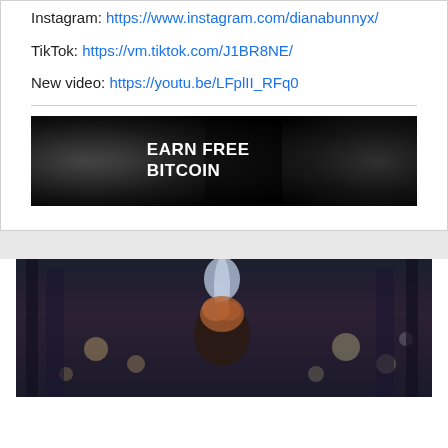Instagram: https://www.instagram.com/dianabunnyx/
TikTok: https://vm.tiktok.com/J1BR8NE/
New video: https://youtu.be/LFplII_RFq0
[Figure (photo): Advertisement banner with black background and white bold text reading EARN FREE BITCOIN]
[Figure (photo): Cinematic still image of a person with reddish hair in a dark, atmospheric hall with bokeh lights in the background]